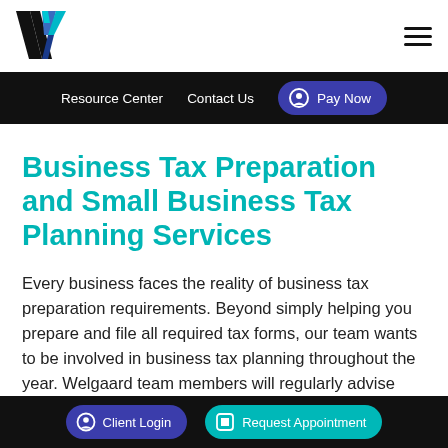Welgaard logo | Resource Center | Contact Us | Pay Now
Business Tax Preparation and Small Business Tax Planning Services
Every business faces the reality of business tax preparation requirements. Beyond simply helping you prepare and file all required tax forms, our team wants to be involved in business tax planning throughout the year. Welgaard team members will regularly advise
Client Login | Request Appointment